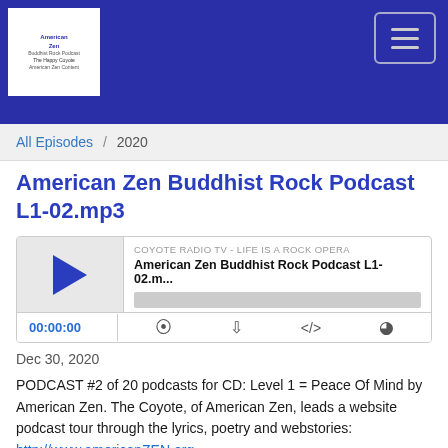American Zen Buddhist Rock Podcast - Navigation Header
All Episodes / 2020
American Zen Buddhist Rock Podcast L1-02.mp3
[Figure (other): Audio player widget showing COYOTE RADIO TV - LIFE IS A ROCK OPERA, episode American Zen Buddhist Rock Podcast L1-02.m... with play button, progress bar, time 00:00:00 and control icons]
Dec 30, 2020
PODCAST #2 of 20 podcasts for CD: Level 1 = Peace Of Mind by American Zen. The Coyote, of American Zen, leads a website podcast tour through the lyrics, poetry and webstories: http://www.americanZEN.org
http://www.ShandiRange...